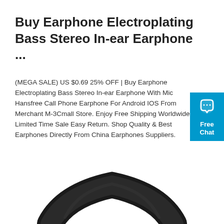Buy Earphone Electroplating Bass Stereo In-ear Earphone ...
(MEGA SALE) US $0.69 25% OFF | Buy Earphone Electroplating Bass Stereo In-ear Earphone With Mic Hansfree Call Phone Earphone For Android IOS From Merchant M-3Cmall Store. Enjoy Free Shipping Worldwide! Limited Time Sale Easy Return. Shop Quality & Best Earphones Directly From China Earphones Suppliers.
[Figure (other): Orange 'Get Price' button]
[Figure (other): Free Chat widget — blue box with chat bubble icon and text 'Free Chat']
[Figure (photo): Partial photo of black over-ear headphones, showing the headband arc on a white background]